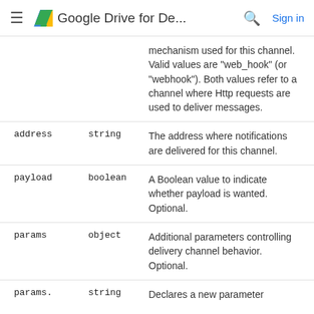Google Drive for De... Sign in
| Property | Type | Description |
| --- | --- | --- |
|  |  | mechanism used for this channel. Valid values are "web_hook" (or "webhook"). Both values refer to a channel where Http requests are used to deliver messages. |
| address | string | The address where notifications are delivered for this channel. |
| payload | boolean | A Boolean value to indicate whether payload is wanted. Optional. |
| params | object | Additional parameters controlling delivery channel behavior. Optional. |
| params. | string | Declares a new parameter |